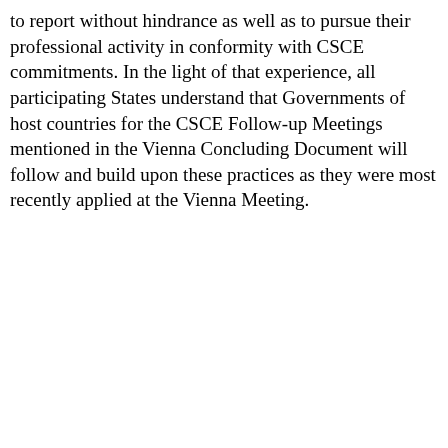to report without hindrance as well as to pursue their professional activity in conformity with CSCE commitments. In the light of that experience, all participating States understand that Governments of host countries for the CSCE Follow-up Meetings mentioned in the Vienna Concluding Document will follow and build upon these practices as they were most recently applied at the Vienna Meeting.